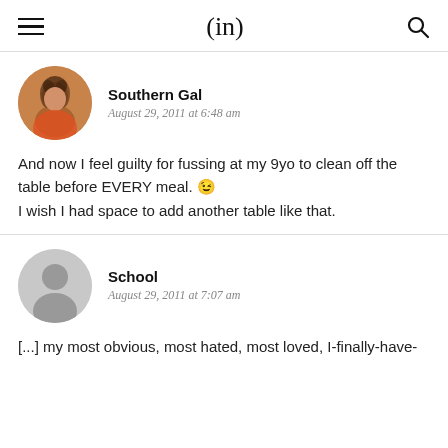(in)
Southern Gal
August 29, 2011 at 6:48 am
And now I feel guilty for fussing at my 9yo to clean off the table before EVERY meal. 😉
I wish I had space to add another table like that.
School
August 29, 2011 at 7:07 am
[...] my most obvious, most hated, most loved, I-finally-have-